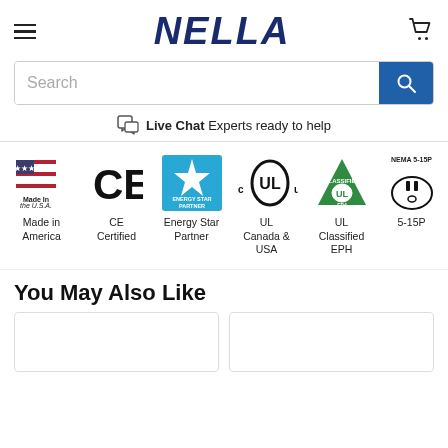[Figure (logo): NELLA brand logo in bold dark blue italic serif font]
[Figure (screenshot): Search bar with Search placeholder text and blue search button]
Live Chat Experts ready to help
[Figure (infographic): Six certification logos: Made in America (US flag), CE Certified, Energy Star Partner (blue), UL Canada & USA (oval UL mark), UL Classified EPH (green triangle), 5-15P (NEMA plug)]
You May Also Like